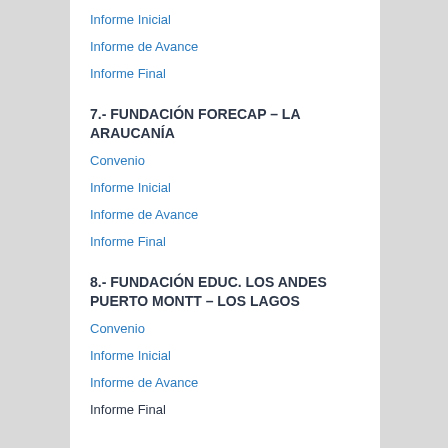Informe Inicial
Informe de Avance
Informe Final
7.- FUNDACIÓN FORECAP – LA ARAUCANÍA
Convenio
Informe Inicial
Informe de Avance
Informe Final
8.- FUNDACIÓN EDUC. LOS ANDES PUERTO MONTT – LOS LAGOS
Convenio
Informe Inicial
Informe de Avance
Informe Final